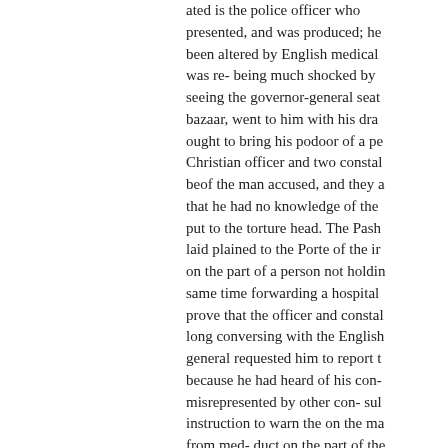ated is the police officer who presented, and was produced; he been altered by English medical was re- being much shocked by seeing the governor-general seat bazaar, went to him with his drag ought to bring his podoor of a pe Christian officer and two constabl beof the man accused, and they a that he had no knowledge of the put to the torture head. The Pash laid plained to the Porte of the ir on the part of a person not holdin same time forwarding a hospital prove that the officer and constabl long conversing with the English general requested him to report t because he had heard of his con- misrepresented by other con- sul instruction to warn the on the ma from med- duct on the part of the Turkey. Suffice it to say that in o
Quite recently, a town in the san inhabited solely by Christians, h